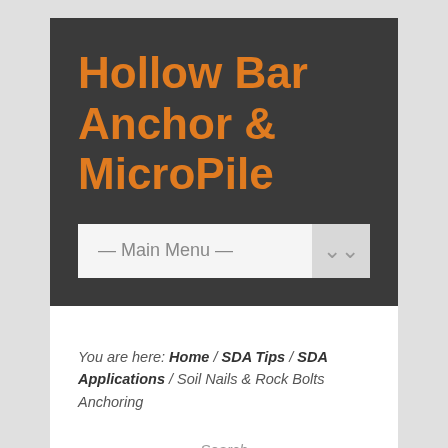Hollow Bar Anchor & MicroPile
— Main Menu —
You are here: Home / SDA Tips / SDA Applications / Soil Nails & Rock Bolts Anchoring
Search